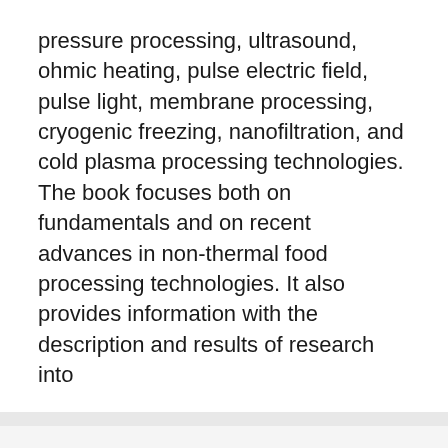pressure processing, ultrasound, ohmic heating, pulse electric field, pulse light, membrane processing, cryogenic freezing, nanofiltration, and cold plasma processing technologies. The book focuses both on fundamentals and on recent advances in non-thermal food processing technologies. It also provides information with the description and results of research into
Handbook of Food Nanotechnology
[Figure (photo): Photo of red apples, partially cropped at bottom of page]